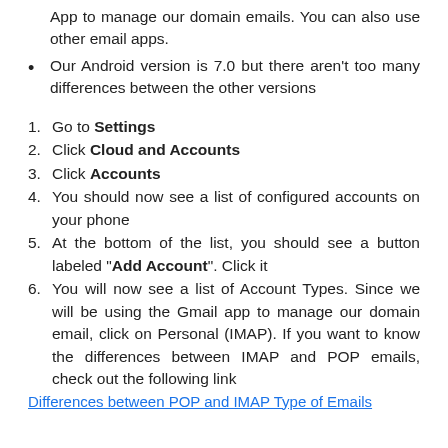App to manage our domain emails. You can also use other email apps.
Our Android version is 7.0 but there aren't too many differences between the other versions
1. Go to Settings
2. Click Cloud and Accounts
3. Click Accounts
4. You should now see a list of configured accounts on your phone
5. At the bottom of the list, you should see a button labeled "Add Account". Click it
6. You will now see a list of Account Types. Since we will be using the Gmail app to manage our domain email, click on Personal (IMAP). If you want to know the differences between IMAP and POP emails, check out the following link
Differences between POP and IMAP Type of Emails